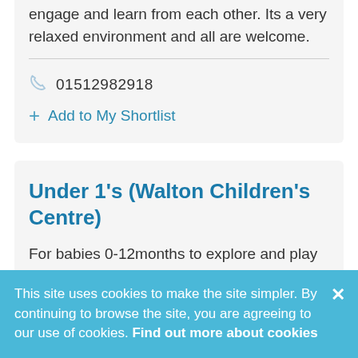engage and learn from each other. Its a very relaxed environment and all are welcome.
01512982918
Add to My Shortlist
Under 1's (Walton Children's Centre)
For babies 0-12months to explore and play with early maths, language and music. And
This site uses cookies to make the site simpler. By continuing to browse the site, you are agreeing to our use of cookies. Find out more about cookies